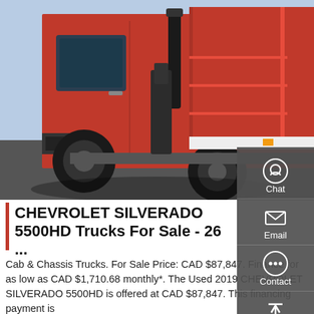[Figure (photo): Red Chevrolet Silverado 5500HD cab and chassis truck, showing the cab, door, exhaust stack, and rear body from a side angle.]
CHEVROLET SILVERADO 5500HD Trucks For Sale - 26 ...
Cab & Chassis Trucks. For Sale Price: CAD $87,847. Finance for as low as CAD $1,710.68 monthly*. The Used 2019 CHEVROLET SILVERADO 5500HD is offered at CAD $87,847. This financing payment is